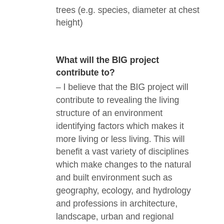trees (e.g. species, diameter at chest height)
What will the BIG project contribute to?
– I believe that the BIG project will contribute to revealing the living structure of an environment identifying factors which makes it more living or less living. This will benefit a vast variety of disciplines which make changes to the natural and built environment such as geography, ecology, and hydrology and professions in architecture, landscape, urban and regional planning, civil engineering etc. This will ultimately lead to a sustainable lifestyle both physically and mentally positive for human begins.